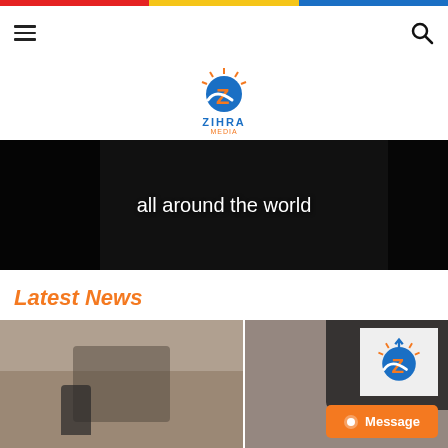[Figure (screenshot): Zihra media website screenshot showing top navigation with hamburger menu and search icon, colorful top bar (red, yellow, blue), Zihra Media logo, video banner with text 'all around the world', Latest News section header, and news image thumbnails with watermark logo and orange Message button]
Latest News
all around the world
Message